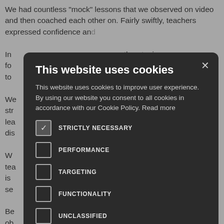We had countless “mock” lessons that we observed on video and then coached each other on. Fairly swiftly, teachers expressed confidence and ... ess for real.
In ... on-threatening, for ... her as a staff team to ... the process.
We ... provide a str... of teaching and lea... he subsequent dis... rvation.
W... ool for both the tea... cause at its heart, it is ... tion of a greater se...
Be... elt that in all ob... ccess of their colleague, again ensuring that peer observation would be
[Figure (screenshot): Cookie consent modal dialog with dark background. Title: 'This website uses cookies'. Body text explaining cookie usage policy with a 'Read more' link. Five cookie category checkboxes: STRICTLY NECESSARY (checked), PERFORMANCE (unchecked), TARGETING (unchecked), FUNCTIONALITY (unchecked), UNCLASSIFIED (unchecked). Two buttons: ACCEPT ALL (green) and DECLINE ALL (outlined). SHOW DETAILS link with gear icon at bottom.]